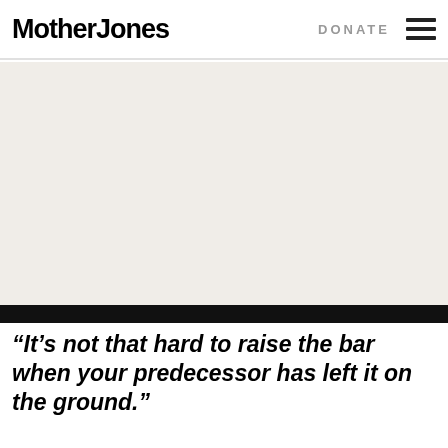Mother Jones  DONATE
[Figure (photo): Large image area with light beige/off-white background, content not visible]
“It’s not that hard to raise the bar when your predecessor has left it on the ground.”